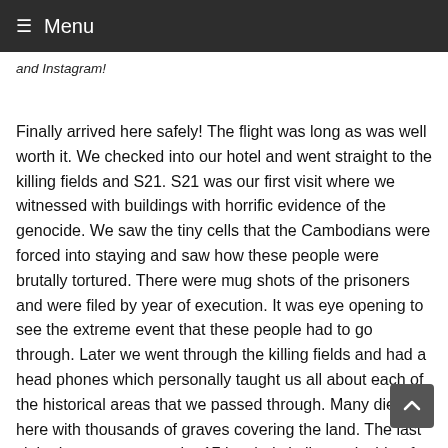≡ Menu
and Instagram!
Finally arrived here safely! The flight was long as was well worth it. We checked into our hotel and went straight to the killing fields and S21. S21 was our first visit where we witnessed with buildings with horrific evidence of the genocide. We saw the tiny cells that the Cambodians were forced into staying and saw how these people were brutally tortured. There were mug shots of the prisoners and were filed by year of execution. It was eye opening to see the extreme event that these people had to go through. Later we went through the killing fields and had a head phones which personally taught us all about each of the historical areas that we passed through. Many died here with thousands of graves covering the land. The last sight that we saw was the 17 leveled skull case inside of a memorial. Each skull was categorized with how they died. It was saddening to see the evidence of the S21 and the killing fields with thousands killed. We learned that education is very valuable and that we need to share the knowledge that we have with others. People with education was killed in the event because the government knew that the knowledge is power and that